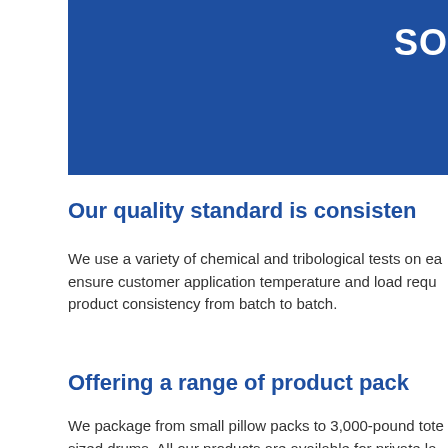SO
Our quality standard is consisten
We use a variety of chemical and tribological tests on ea ensure customer application temperature and load requ product consistency from batch to batch.
Offering a range of product pack
We package from small pillow packs to 3,000-pound tote sized drums. All our products are available for private la